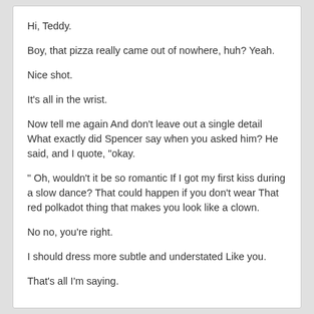Hi, Teddy.
Boy, that pizza really came out of nowhere, huh? Yeah.
Nice shot.
It's all in the wrist.
Now tell me again And don't leave out a single detail What exactly did Spencer say when you asked him? He said, and I quote, "okay.
" Oh, wouldn't it be so romantic If I got my first kiss during a slow dance? That could happen if you don't wear That red polkadot thing that makes you look like a clown.
No no, you're right.
I should dress more subtle and understated Like you.
That's all I'm saying.